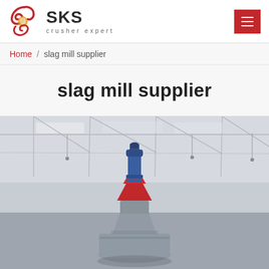SKS crusher expert
Home / slag mill supplier
slag mill supplier
[Figure (photo): Industrial slag mill / crusher equipment in a warehouse setting, showing a conical crusher machine with a blue top section and red/orange funnel component, photographed from below against a factory roof with skylights.]